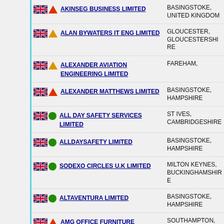AKINSEG BUSINESS LIMITED — BASINGSTOKE, UNITED KINGDOM
ALAN BYWATERS IT ENG LIMITED — GLOUCESTER, GLOUCESTERSHIRE
ALEXANDER AVIATION ENGINEERING LIMITED — FAREHAM,
ALEXANDER MATTHEWS LIMITED — BASINGSTOKE, HAMPSHIRE
ALL DAY SAFETY SERVICES LIMITED — ST IVES, CAMBRIDGESHIRE
ALLDAYSAFETY LIMITED — BASINGSTOKE, HAMPSHIRE
SODEXO CIRCLES U.K LIMITED — MILTON KEYNES, BUCKINGHAMSHIRE
ALTAVENTURA LIMITED — BASINGSTOKE, HAMPSHIRE
AMG OFFICE FURNITURE — SOUTHAMPTON,